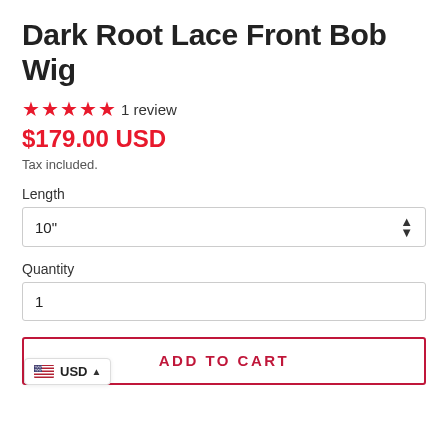Dark Root Lace Front Bob Wig
★★★★★ 1 review
$179.00 USD
Tax included.
Length
10"
Quantity
1
ADD TO CART
USD